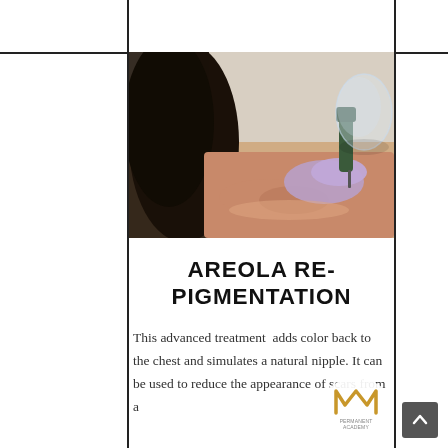[Figure (photo): A medical professional wearing purple gloves performing an areola re-pigmentation procedure with a tattoo device on a patient lying down. The patient has dark hair. The device appears wrapped in clear plastic covering.]
AREOLA RE-PIGMENTATION
This advanced treatment adds color back to the chest and simulates a natural nipple. It can be used to reduce the appearance of scars from a